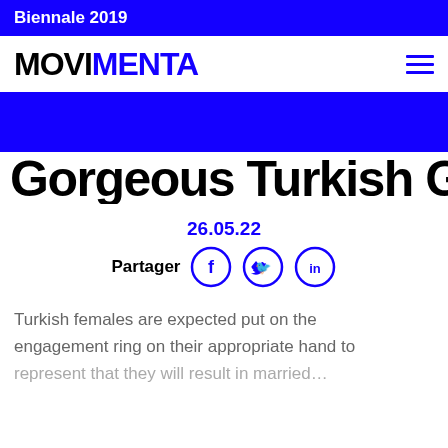Biennale 2019
[Figure (logo): MOVIMENTA logo in black and blue bold sans-serif text with hamburger menu icon]
Gorgeous Turkish Girls.
26.05.22
[Figure (infographic): Social sharing buttons: Partager label with Facebook, Twitter, and LinkedIn circle icons in blue]
Turkish females are expected put on the engagement ring on their appropriate hand to